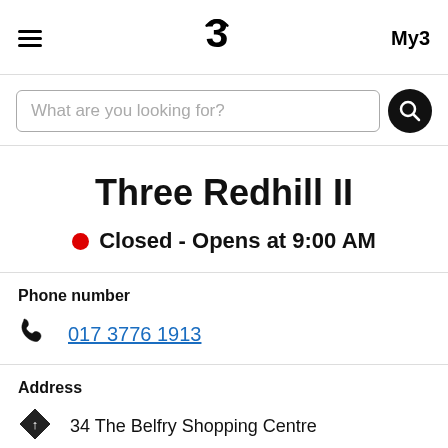Three mobile — My3
What are you looking for?
Three Redhill II
Closed - Opens at 9:00 AM
Phone number
017 3776 1913
Address
34 The Belfry Shopping Centre